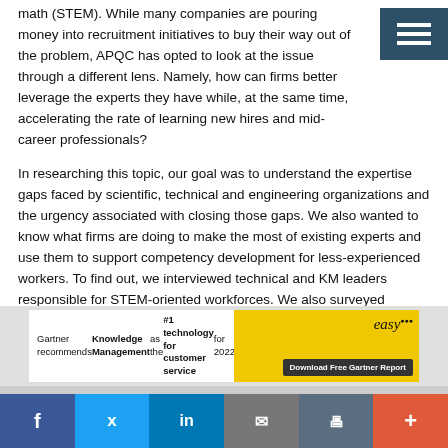math (STEM). While many companies are pouring money into recruitment initiatives to buy their way out of the problem, APQC has opted to look at the issue through a different lens. Namely, how can firms better leverage the experts they have while, at the same time, accelerating the rate of learning new hires and mid-career professionals?
In researching this topic, our goal was to understand the expertise gaps faced by scientific, technical and engineering organizations and the urgency associated with closing those gaps. We also wanted to know what firms are doing to make the most of existing experts and use them to support competency development for less-experienced workers. To find out, we interviewed technical and KM leaders responsible for STEM-oriented workforces. We also surveyed representatives from technical and engineering disciplines, KM and HR to get their perspectives on the issues raised in the interviews.
[Figure (screenshot): Advertisement banner: Gartner recommends Knowledge Management as the #1 technology for customer service for 2022. Download Free Gartner Report. Easy brand logo on yellow background.]
f  Twitter  in  Email  Print  +